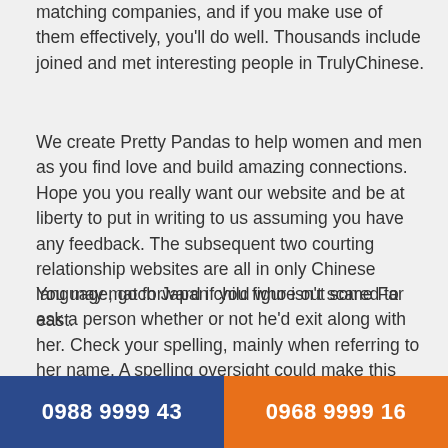matching companies, and if you make use of them effectively, you'll do well. Thousands include joined and met interesting people in TrulyChinese.
We create Pretty Pandas to help women and men as you find love and build amazing connections. Hope you you really want our website and be at liberty to put in writing to us assuming you have any feedback. The subsequent two courting relationship websites are all in only Chinese language, go forward if you figure out some Far east.
You may match Japan child who isn't scared to ask a person whether or not he'd exit along with her. Check your spelling, mainly when referring to her name. A spelling oversight could make this appear to be you're not considering much with regards to the conversation. Western women for the purpose of marriage happen to be industrious, impartial, as properly a…
0988 9999 43
0968 9999 16